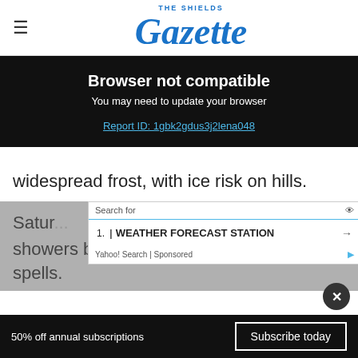THE SHIELDS Gazette
Browser not compatible
You may need to update your browser
Report ID: 1gbk2gdus3j2lena048
widespread frost, with ice risk on hills.
Satur... showers but should be dry, with bright spells.
50% off annual subscriptions   Subscribe today